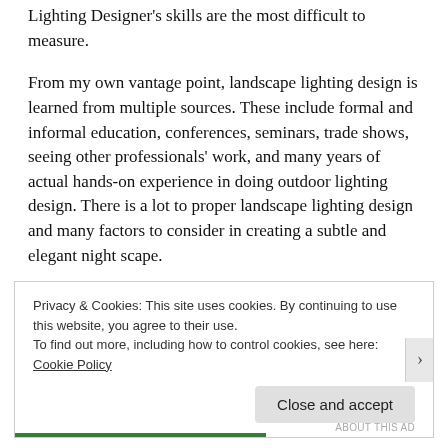Lighting Designer's skills are the most difficult to measure.
From my own vantage point, landscape lighting design is learned from multiple sources. These include formal and informal education, conferences, seminars, trade shows, seeing other professionals' work, and many years of actual hands-on experience in doing outdoor lighting design. There is a lot to proper landscape lighting design and many factors to consider in creating a subtle and elegant night scape.
Privacy & Cookies: This site uses cookies. By continuing to use this website, you agree to their use.
To find out more, including how to control cookies, see here: Cookie Policy